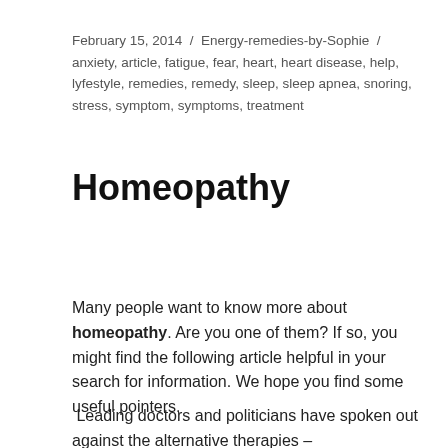February 15, 2014 / Energy-remedies-by-Sophie / anxiety, article, fatigue, fear, heart, heart disease, help, lyfestyle, remedies, remedy, sleep, sleep apnea, snoring, stress, symptom, symptoms, treatment
Homeopathy
Many people want to know more about homeopathy. Are you one of them? If so, you might find the following article helpful in your search for information. We hope you find some useful pointers.
Leading doctors and politicians have spoken out against the alternative therapies –